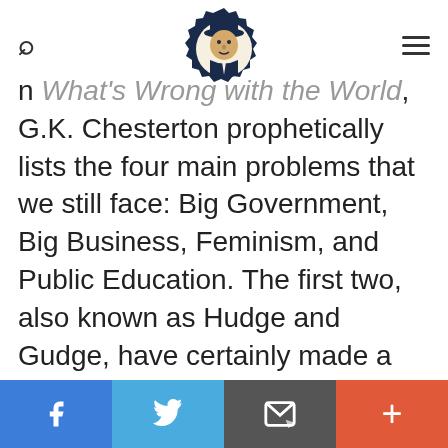[Figure (logo): Circular badge logo with illustrated man wearing hat, navy/cream colors]
In What's Wrong with the World, G.K. Chesterton prophetically lists the four main problems that we still face: Big Government, Big Business, Feminism, and Public Education. The first two, also known as Hudge and Gudge, have certainly made a show under the Covid Plague to crush freedom and independence. Feminism has given us abortion and the disintegration of the family. But the steady and spectacular decline of public education in America has been undeniable even though some still deny it. The people who have been burning
Facebook | Twitter | Email | +